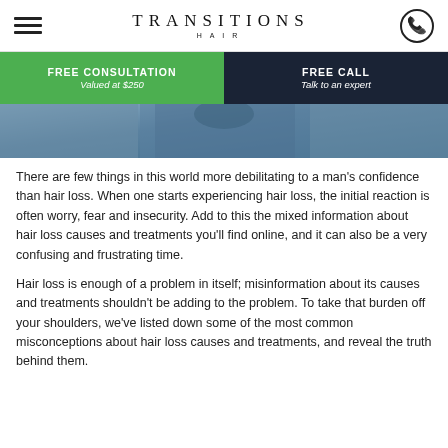TRANSITIONS HAIR
FREE CONSULTATION Valued at $250 | FREE CALL Talk to an expert
[Figure (photo): Partial view of a man in a blue shirt, hero banner image]
There are few things in this world more debilitating to a man's confidence than hair loss. When one starts experiencing hair loss, the initial reaction is often worry, fear and insecurity. Add to this the mixed information about hair loss causes and treatments you'll find online, and it can also be a very confusing and frustrating time.
Hair loss is enough of a problem in itself; misinformation about its causes and treatments shouldn't be adding to the problem. To take that burden off your shoulders, we've listed down some of the most common misconceptions about hair loss causes and treatments, and reveal the truth behind them.